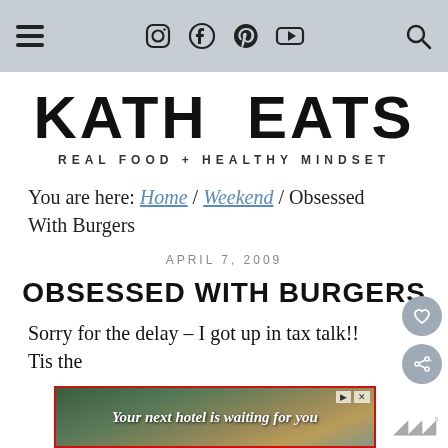Kath Eats - Navigation bar with hamburger menu, social icons (Instagram, Facebook, Pinterest, YouTube), and search icon
KATH EATS
REAL FOOD + HEALTHY MINDSET
You are here: Home / Weekend / Obsessed With Burgers
APRIL 7, 2009
OBSESSED WITH BURGERS
Sorry for the delay – I got up in tax talk!! Tis the se
[Figure (screenshot): Advertisement banner: 'Your next hotel is waiting for you' with scenic hotel background image]